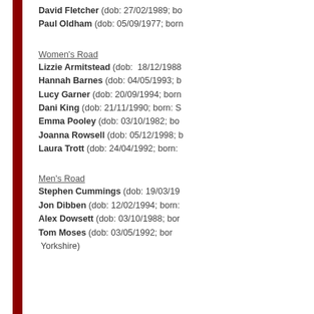David Fletcher (dob: 27/02/1989; bo…
Paul Oldham (dob: 05/09/1977; born…
Women's Road
Lizzie Armitstead (dob: 18/12/1988…
Hannah Barnes (dob: 04/05/1993; b…
Lucy Garner (dob: 20/09/1994; born…
Dani King (dob: 21/11/1990; born: S…
Emma Pooley (dob: 03/10/1982; bo…
Joanna Rowsell (dob: 05/12/1998; b…
Laura Trott (dob: 24/04/1992; born:…
Men's Road
Stephen Cummings (dob: 19/03/19…
Jon Dibben (dob: 12/02/1994; born:…
Alex Dowsett (dob: 03/10/1988; bor…
Tom Moses (dob: 03/05/1992; bor… Yorkshire)